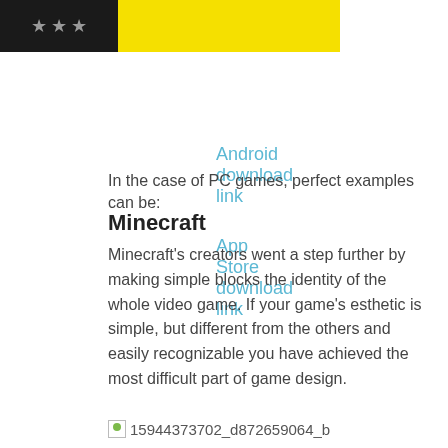[Figure (other): Banner image with black section showing three stars and two yellow sections]
Android download link
App Store download link
In the case of PC games, perfect examples can be:
Minecraft
Minecraft's creators went a step further by making simple blocks the identity of the whole video game. If your game's esthetic is simple, but different from the others and easily recognizable you have achieved the most difficult part of game design.
[Figure (photo): Image placeholder: 15944373702_d872659064_b]
Dwarf Fortress
This indie game is freeware and has been constantly improved since its first release in 2002. The main game mode can be tagged as a construction and management simulation, with a text based engine